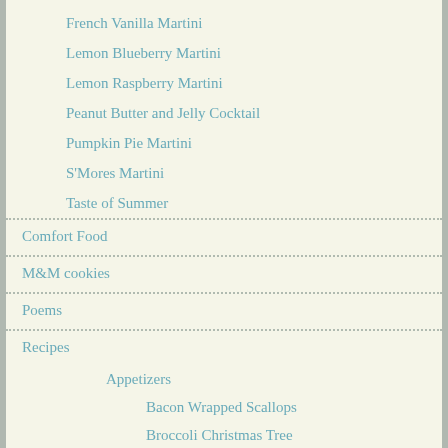French Vanilla Martini
Lemon Blueberry Martini
Lemon Raspberry Martini
Peanut Butter and Jelly Cocktail
Pumpkin Pie Martini
S'Mores Martini
Taste of Summer
Comfort Food
M&M cookies
Poems
Recipes
Appetizers
Bacon Wrapped Scallops
Broccoli Christmas Tree